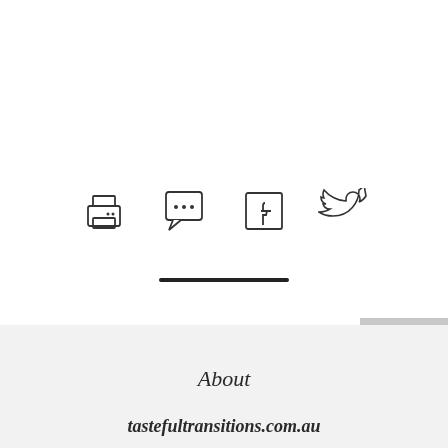[Figure (illustration): Four social/action icons in a row: printer icon, speech bubble with ellipsis icon, Facebook icon, Twitter bird icon]
[Figure (illustration): Horizontal black divider line centered on the page]
[Figure (illustration): Dark gray back-to-top button with upward chevron arrow in top-right corner]
About
tastefultransitions.com.au